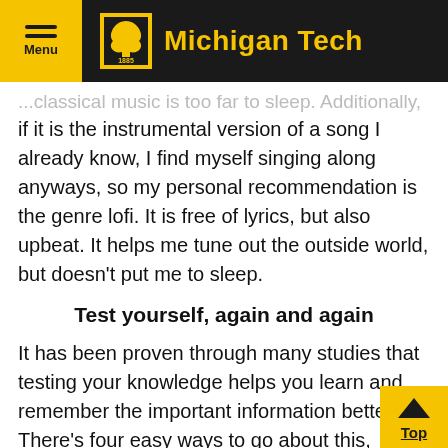Menu | Michigan Tech
...classical music is too far to sleep. Additionally, if it is the instrumental version of a song I already know, I find myself singing along anyways, so my personal recommendation is the genre lofi. It is free of lyrics, but also upbeat. It helps me tune out the outside world, but doesn't put me to sleep.
Test yourself, again and again
It has been proven through many studies that testing your knowledge helps you learn and remember the important information better. There's four easy ways to go about this, among many others. Those four easy ways are learning objectives, end of chapter review questions, example problems, and practice